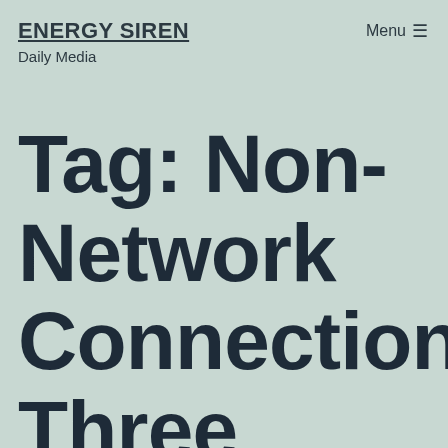ENERGY SIREN — Daily Media | Menu ☰
Tag: Non-Network Connections Three Phase